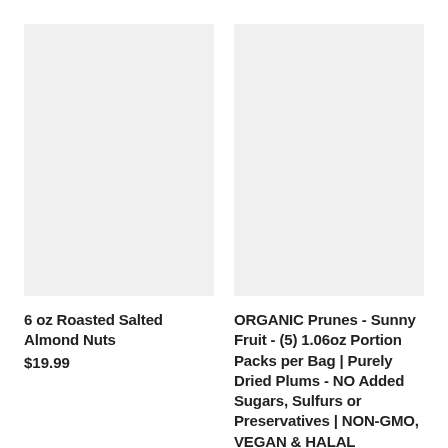[Figure (photo): Product image placeholder for 6 oz Roasted Salted Almond Nuts — light gray rectangle]
6 oz Roasted Salted Almond Nuts
$19.99
[Figure (photo): Product image placeholder for ORGANIC Prunes Sunny Fruit — light gray rectangle]
ORGANIC Prunes - Sunny Fruit - (5) 1.06oz Portion Packs per Bag | Purely Dried Plums - NO Added Sugars, Sulfurs or Preservatives | NON-GMO, VEGAN & HALAL